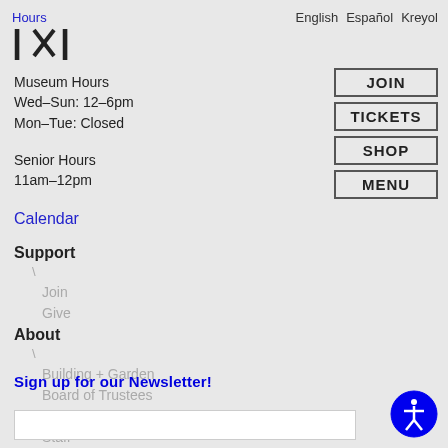Hours
[Figure (logo): Museum logo with stylized diagonal lines forming letters IKI or similar]
English   Español   Kreyol
JOIN
TICKETS
SHOP
MENU
Museum Hours
Wed–Sun: 12–6pm
Mon–Tue: Closed
Senior Hours
11am–12pm
Calendar
Support
Join
Give
About
Building + Garden
Board of Trustees
Partners
Staff
Press
Sign up for our Newsletter!
[Figure (illustration): Blue circle with white accessibility icon (person with arms and legs extended)]